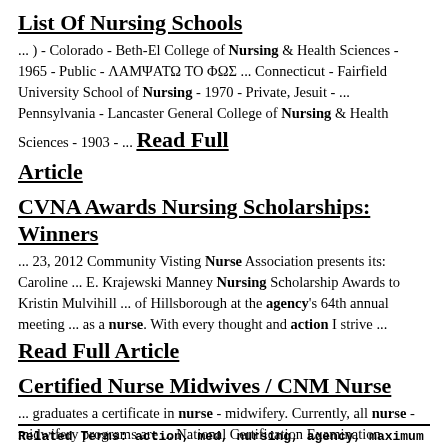List Of Nursing Schools
... ) - Colorado - Beth-El College of Nursing & Health Sciences - 1965 - Public - ΛΑΜΨΑΤΩ ΤΟ ΦΩΣ ... Connecticut - Fairfield University School of Nursing - 1970 - Private, Jesuit - ... Pennsylvania - Lancaster General College of Nursing & Health Sciences - 1903 - ... Read Full Article
CVNA Awards Nursing Scholarships: Winners
... 23, 2012 Community Visting Nurse Association presents its: Caroline ... E. Krajewski Manney Nursing Scholarship Awards to Kristin Mulvihill ... of Hillsborough at the agency's 64th annual meeting ... as a nurse. With every thought and action I strive ... Read Full Article
Certified Nurse Midwives / CNM Nurse
... graduates a certificate in nurse - midwifery. Currently, all nurse - midwifery programs are ... National Certification Examination. Certified Nurse Midwives are nurses with special instruction in ... diploma in a non-nursing field, a nursing license will not be ... Read Full Article
Related Terms: action, med, nursing, agency, maximum